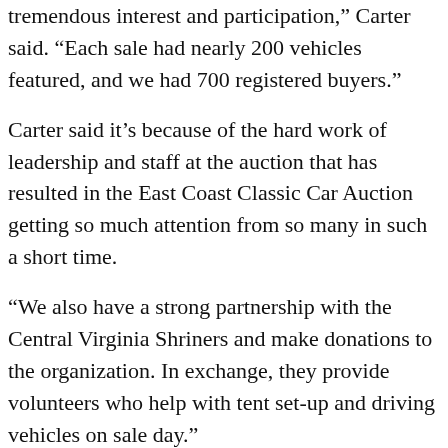Despite COVID-19 concerns last year, we had tremendous interest and participation," Carter said. "Each sale had nearly 200 vehicles featured, and we had 700 registered buyers."
Carter said it’s because of the hard work of leadership and staff at the auction that has resulted in the East Coast Classic Car Auction getting so much attention from so many in such a short time.
“We also have a strong partnership with the Central Virginia Shriners and make donations to the organization. In exchange, they provide volunteers who help with tent set-up and driving vehicles on sale day.”
For more information visit the East Coast Classic Car